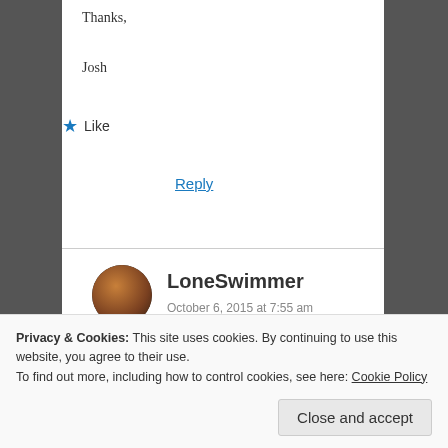Thanks,
Josh
★ Like
Reply
[Figure (illustration): Horizontal divider line separating comments]
[Figure (photo): Round avatar photo of LoneSwimmer commenter]
LoneSwimmer
October 6, 2015 at 7:55 am
Hey Josh, Well I'd freely admit to preferring swimming later in the day. Certainly getting into
Privacy & Cookies: This site uses cookies. By continuing to use this website, you agree to their use.
To find out more, including how to control cookies, see here: Cookie Policy
Close and accept